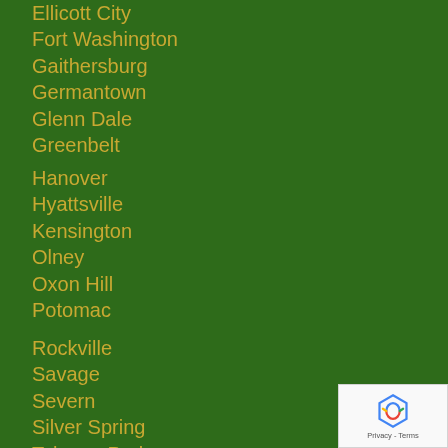Ellicott City
Fort Washington
Gaithersburg
Germantown
Glenn Dale
Greenbelt
Hanover
Hyattsville
Kensington
Olney
Oxon Hill
Potomac
Rockville
Savage
Severn
Silver Spring
Takoma Park
Temple Hills
Waldorf
[Figure (other): reCAPTCHA badge with Privacy and Terms links]